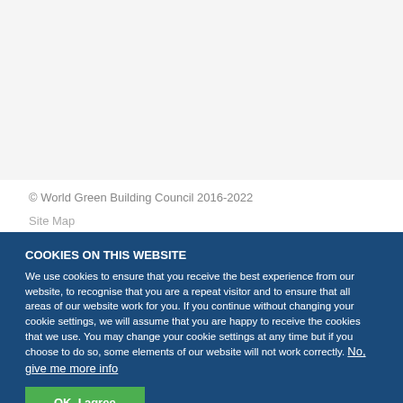© World Green Building Council 2016-2022
Site Map
COOKIES ON THIS WEBSITE
We use cookies to ensure that you receive the best experience from our website, to recognise that you are a repeat visitor and to ensure that all areas of our website work for you. If you continue without changing your cookie settings, we will assume that you are happy to receive the cookies that we use. You may change your cookie settings at any time but if you choose to do so, some elements of our website will not work correctly. No, give me more info
OK, I agree